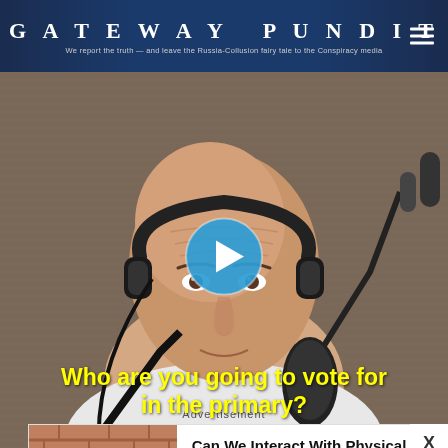GATEWAY PUNDIT — We report the truth — and leave the Russia-Collusion fairy tale to the Conspiracy media
[Figure (screenshot): Video thumbnail showing a bald man wearing headphones and a white t-shirt sitting in front of a microphone. A large blue play button circle is overlaid in the center. Yellow subtitle text reads: Who are you going to vote for in the primary?]
Advertisement
[Figure (photo): Advertisement image showing a woman speaking in front of a brick wall with people seated in the foreground]
Can We Interact With Physical Objects Using Only Our Thoughts?
Brainberries